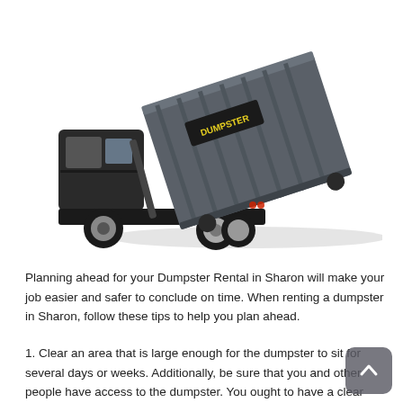[Figure (photo): A roll-off dumpster truck with a large gray rectangular dumpster container being lifted off the truck bed. The dumpster has a 'DUMPSTER' logo label on its side. The truck is dark/black colored.]
Planning ahead for your Dumpster Rental in Sharon will make your job easier and safer to conclude on time. When renting a dumpster in Sharon, follow these tips to help you plan ahead.
1. Clear an area that is large enough for the dumpster to sit for several days or weeks. Additionally, be sure that you and other people have access to the dumpster. You ought to have a clear path that prevents accidents.